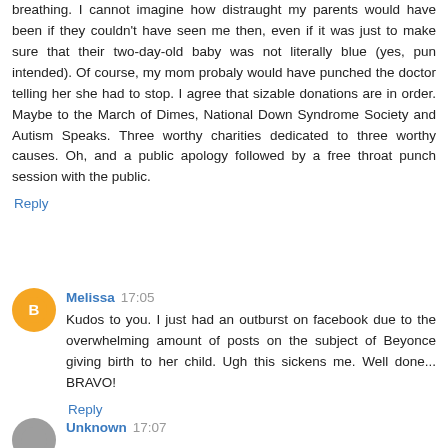breathing. I cannot imagine how distraught my parents would have been if they couldn't have seen me then, even if it was just to make sure that their two-day-old baby was not literally blue (yes, pun intended). Of course, my mom probaly would have punched the doctor telling her she had to stop. I agree that sizable donations are in order. Maybe to the March of Dimes, National Down Syndrome Society and Autism Speaks. Three worthy charities dedicated to three worthy causes. Oh, and a public apology followed by a free throat punch session with the public.
Reply
Melissa 17:05
Kudos to you. I just had an outburst on facebook due to the overwhelming amount of posts on the subject of Beyonce giving birth to her child. Ugh this sickens me. Well done... BRAVO!
Reply
Unknown 17:07